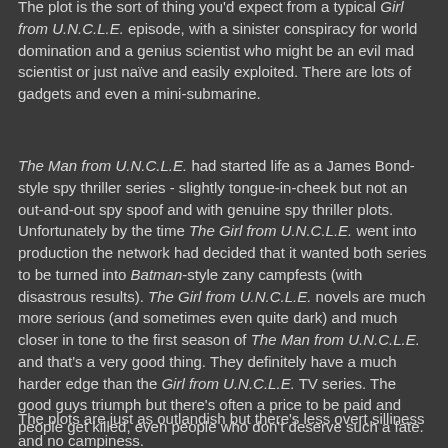The plot is the sort of thing you'd expect from a typical Girl from U.N.C.L.E. episode, with a sinister conspiracy for world domination and a genius scientist who might be an evil mad scientist or just naïve and easily exploited. There are lots of gadgets and even a mini-submarine.
The Man from U.N.C.L.E. had started life as a James Bond-style spy thriller series - slightly tongue-in-cheek but not an out-and-out spy spoof and with genuine spy thriller plots. Unfortunately by the time The Girl from U.N.C.L.E. went into production the network had decided that it wanted both series to be turned into Batman-style zany campfests (with disastrous results). The Girl from U.N.C.L.E. novels are much more serious (and sometimes even quite dark) and much closer in tone to the first season of The Man from U.N.C.L.E. and that's a very good thing. They definitely have a much harder edge than the Girl from U.N.C.L.E. TV series. The good guys triumph but there's often a price to be paid and people get killed, even people who don't deserve such a fate.
The plots are just as outlandish but there's less overt silliness and no campiness.